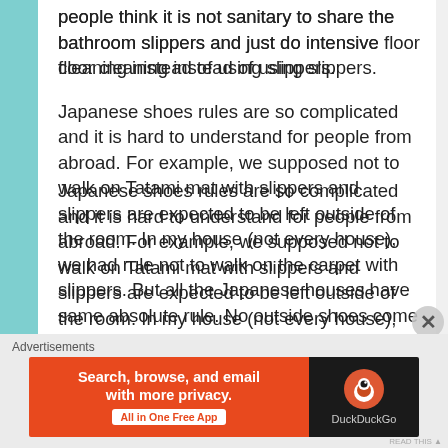some people use rug instead of slippers. some people think it is not sanitary to share the bathroom slippers and just do intensive floor cleaning instead of using slippers.
Japanese shoes rules are so complicated and it is hard to understand for people from abroad. For example, we supposed not to walk on Tatami mat with slippers and slippers are expected to be left outside of the room. In my house (not every house), we had rule not to walk on the carpet with slippers. But all the Japanese houses have same absolute rule. No outside shoes come inside of the house, period.
Advertisements
[Figure (other): DuckDuckGo advertisement banner: orange left section with text 'Search, browse, and email with more privacy. All in One Free App' and dark right section with DuckDuckGo logo and name.]